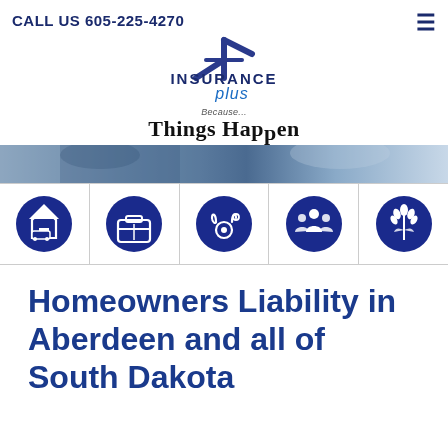CALL US 605-225-4270
[Figure (logo): Insurance Plus logo with star/cross symbol, text 'INSURANCE plus' and tagline 'Because... Things Happen']
[Figure (photo): Hero banner photo showing people in professional attire, blurred background]
[Figure (infographic): Five circular navy blue icon buttons: home/auto, briefcase/business, medical stethoscope, group/life, and agriculture/crop icons]
Homeowners Liability in Aberdeen and all of South Dakota